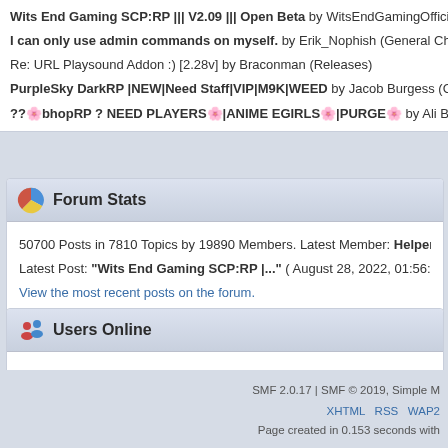Wits End Gaming SCP:RP ||| V2.09 ||| Open Beta by WitsEndGamingOfficial (Co...
I can only use admin commands on myself. by Erik_Nophish (General Chat & H...
Re: URL Playsound Addon :) [2.28v] by Braconman (Releases)
PurpleSky DarkRP |NEW|Need Staff|VIP|M9K|WEED by Jacob Burgess (Commu...
??🌸bhopRP ? NEED PLAYERS🌸|ANIME EGIRLS🌸|PURGE🌸 by Ali Bomaye (Comm...
Forum Stats
50700 Posts in 7810 Topics by 19890 Members. Latest Member: Helper
Latest Post: "Wits End Gaming SCP:RP |..." ( August 28, 2022, 01:56:59...
View the most recent posts on the forum.
[More Stats]
Users Online
45 Guests, 0 Users
Most Online Today: 56. Most Online Ever: 1692 (January 15, 2020, 08:22:46 AM)
SMF 2.0.17 | SMF © 2019, Simple M... XHTML RSS WAP2 Page created in 0.153 seconds with...